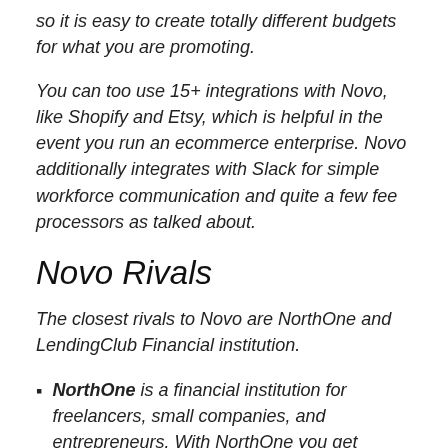so it is easy to create totally different budgets for what you are promoting.
You can too use 15+ integrations with Novo, like Shopify and Etsy, which is helpful in the event you run an ecommerce enterprise. Novo additionally integrates with Slack for simple workforce communication and quite a few fee processors as talked about.
Novo Rivals
The closest rivals to Novo are NorthOne and LendingClub Financial institution.
NorthOne is a financial institution for freelancers, small companies, and entrepreneurs. With NorthOne you get limitless banking with out hidden charges or minimal balances for simply $10 monthly.  And you'll